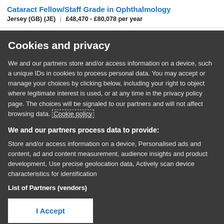Cataract Fellow/Staff Grade in Ophthalmology
Jersey (GB) (JE) | £48,470 - £80,078 per year
Cookies and privacy
We and our partners store and/or access information on a device, such a unique IDs in cookies to process personal data. You may accept or manage your choices by clicking below, including your right to object where legitimate interest is used, or at any time in the privacy policy page. These choices will be signaled to our partners and will not affect browsing data. Cookie policy
We and our partners process data to provide:
Store and/or access information on a device, Personalised ads and content, ad and content measurement, audience insights and product development, Use precise geolocation data, Actively scan device characteristics for identification
List of Partners (vendors)
I Accept